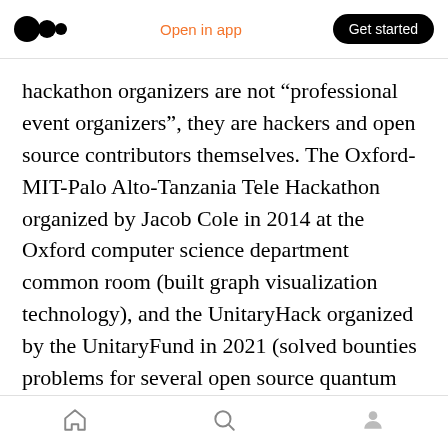Medium logo | Open in app | Get started
hackathon organizers are not “professional event organizers”, they are hackers and open source contributors themselves. The Oxford-MIT-Palo Alto-Tanzania Tele Hackathon organized by Jacob Cole in 2014 at the Oxford computer science department common room (built graph visualization technology), and the UnitaryHack organized by the UnitaryFund in 2021 (solved bounties problems for several open source quantum computing libraries) are good examples. Hackers themselves have ideas, and they know what to build. More importantly, they
Home | Search | Profile